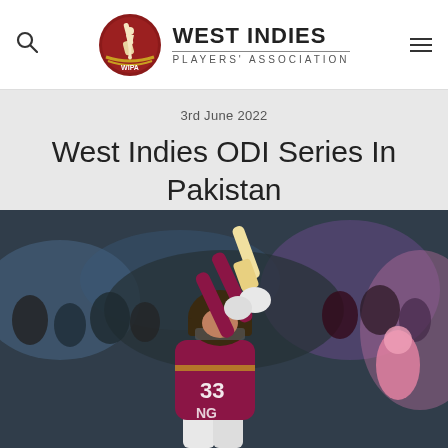WEST INDIES PLAYERS' ASSOCIATION
3rd June 2022
West Indies ODI Series In Pakistan Moved To Multan
[Figure (photo): West Indies cricket player in maroon jersey numbered 33 playing a batting shot with raised bat, crowd visible in background at night match]